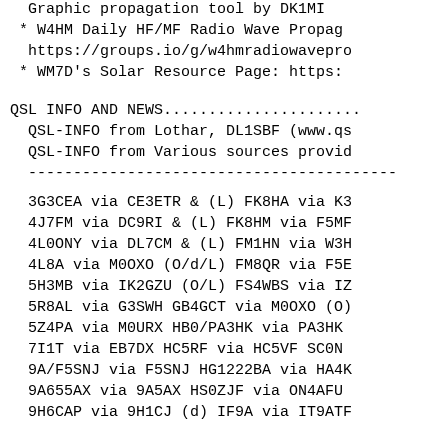Graphic propagation tool by DK1MI
* W4HM Daily HF/MF Radio Wave Propagation... https://groups.io/g/w4hmradiowavepro
* WM7D's Solar Resource Page: https:
QSL INFO AND NEWS......................
QSL-INFO from Lothar, DL1SBF (www.qs
  QSL-INFO from Various sources provid
-----------------------------------------------
3G3CEA via CE3ETR & (L) FK8HA via K3
4J7FM via DC9RI & (L) FK8HM via F5MF
4L0ONY via DL7CM & (L) FM1HN via W3H
4L8A via M0OXO (O/d/L) FM8QR via F5E
5H3MB via IK2GZU (O/L) FS4WBS via IZ
5R8AL via G3SWH GB4GCT via M0OXO (O)
5Z4PA via M0URX HB0/PA3HK via PA3HK
7I1T via EB7DX HC5RF via HC5VF SC0N
9A/F5SNJ via F5SNJ HG1222BA via HA4K
9A655AX via 9A5AX HS0ZJF via ON4AFU
9H6CAP via 9H1CJ (d) IF9A via IT9ATF